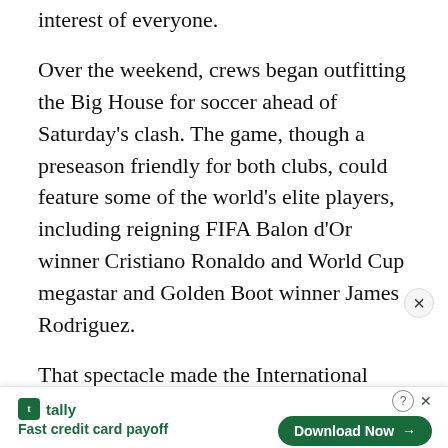interest of everyone.
Over the weekend, crews began outfitting the Big House for soccer ahead of Saturday's clash. The game, though a preseason friendly for both clubs, could feature some of the world's elite players, including reigning FIFA Balon d'Or winner Cristiano Ronaldo and World Cup megastar and Golden Boot winner James Rodriguez.
That spectacle made the International Champions Cup feasible tenants of Michigan Stadium, and Ablauf said a similarly selective process will be used for other potential
[Figure (other): Advertisement banner for Tally app: 'Fast credit card payoff' with Download Now button]